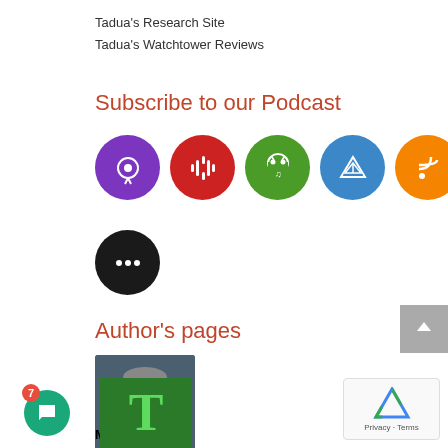Tadua's Research Site
Tadua's Watchtower Reviews
Subscribe to our Podcast
[Figure (infographic): Row of 5 circular podcast subscription icons: purple Apple Podcasts, red Google Podcasts, green Android/Podcast Addict, blue Overcast/email, orange RSS feed. Below them a black circle with three dots (more options).]
Author's pages
[Figure (photo): Portrait photo of an older man with glasses and grey hair wearing a dark jacket]
Meleti Vivlon